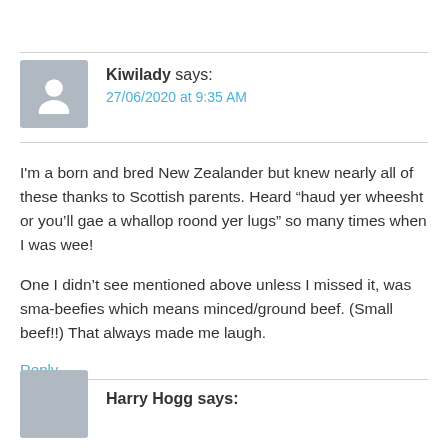Kiwilady says:
27/06/2020 at 9:35 AM
I'm a born and bred New Zealander but knew nearly all of these thanks to Scottish parents. Heard “haud yer wheesht or you’ll gae a whallop roond yer lugs” so many times when I was wee!
One I didn’t see mentioned above unless I missed it, was sma-beefies which means minced/ground beef. (Small beef!!) That always made me laugh.
Reply
Harry Hogg says: